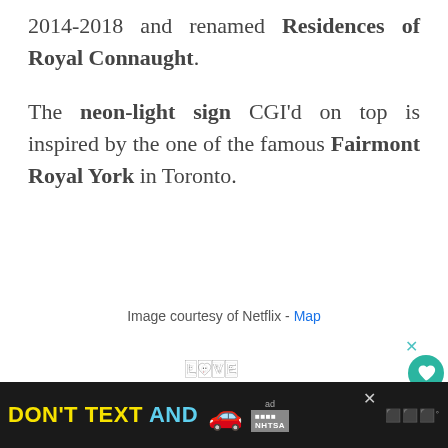2014-2018 and renamed Residences of Royal Connaught. The neon-light sign CGI'd on top is inspired by the one of the famous Fairmont Royal York in Toronto.
Image courtesy of Netflix - Map
[Figure (illustration): Black and white graphic art spelling LOVE with intricate face illustrations inside each letter]
[Figure (illustration): Bottom advertisement banner: DON'T TEXT AND [car emoji] with NHTSA logo on dark background]